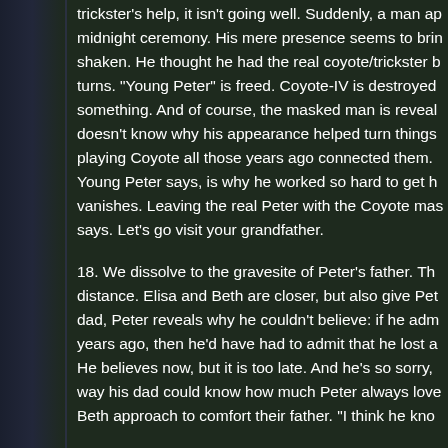trickster's help, it isn't going well. Suddenly, a man appears at the midnight ceremony. His mere presence seems to bring something shaken. He thought he had the real coyote/trickster but the turns. "Young Peter" is freed. Coyote-IV is destroyed something. And of course, the masked man is revealed doesn't know why his appearance helped turn things playing Coyote all those years ago connected them. Young Peter says, is why he worked so hard to get him vanishes. Leaving the real Peter with the Coyote mask says. Let's go visit your grandfather.
18. We dissolve to the gravesite of Peter's father. The distance. Elisa and Beth are closer, but also give Peter dad, Peter reveals why he couldn't believe: if he admitted years ago, then he'd have had to admit that he lost a He believes now, but it is too late. And he's so sorry, way his dad could know how much Peter always loved Beth approach to comfort their father. "I think he knows"
O.K. That's it. As usual, NONE OF THIS is etched in to script. If you don't like it or any part of it, just come